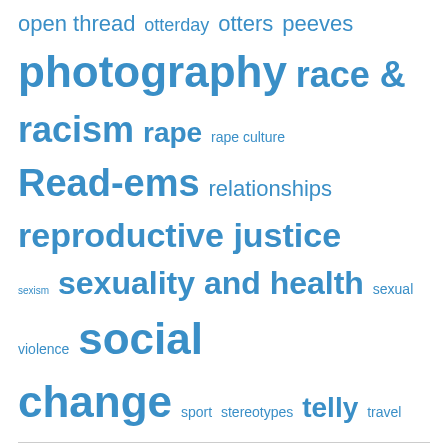open thread otterday otters peeves photography race & racism rape rape culture Read-ems relationships reproductive justice sexism sexuality and health sexual violence social change sport stereotypes telly travel
Subscribe to Blog via Email
Enter your email address to subscribe to this blog and receive notifications of new posts by email.